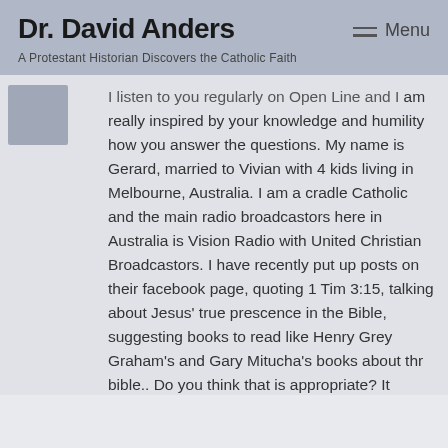Dr. David Anders
A Protestant Historian Discovers the Catholic Faith
I listen to you regularly on Open Line and I am really inspired by your knowledge and humility how you answer the questions. My name is Gerard, married to Vivian with 4 kids living in Melbourne, Australia. I am a cradle Catholic and the main radio broadcastors here in Australia is Vision Radio with United Christian Broadcastors. I have recently put up posts on their facebook page, quoting 1 Tim 3:15, talking about Jesus' true prescence in the Bible, suggesting books to read like Henry Grey Graham's and Gary Mitucha's books about thr bible.. Do you think that is appropriate? It brings a lot of joy defending my faith what does it take to be an apologist? Thanks God Bless